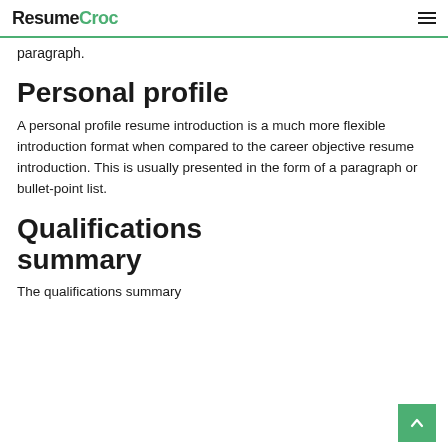ResumeCroc
paragraph.
Personal profile
A personal profile resume introduction is a much more flexible introduction format when compared to the career objective resume introduction. This is usually presented in the form of a paragraph or bullet-point list.
Qualifications summary
The qualifications summary